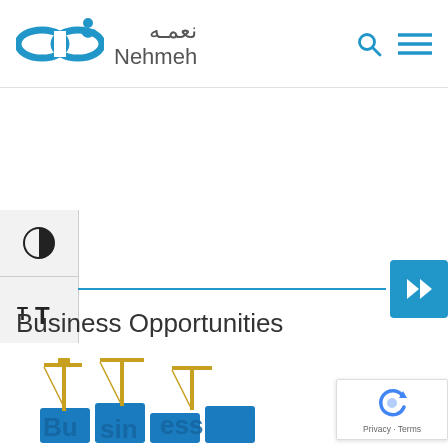[Figure (logo): Nehmeh company logo with blue chain link icon, Arabic text نعمه and English text Nehmeh]
[Figure (infographic): Slider/carousel control area with blue horizontal line and blue forward button on right]
Business Opportunities
[Figure (photo): 3D illustration showing blue block letters spelling Business partially visible with golden construction cranes]
[Figure (other): Google reCAPTCHA badge with Privacy and Terms links]